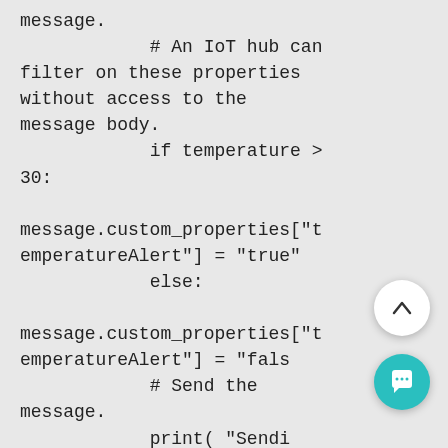message.
            # An IoT hub can filter on these properties without access to the message body.
            if temperature > 30:

message.custom_properties["temperatureAlert"] = "true"
            else:

message.custom_properties["temperatureAlert"] = "false"
            # Send the message.
            print( "Sendi
message: {}".format(message))